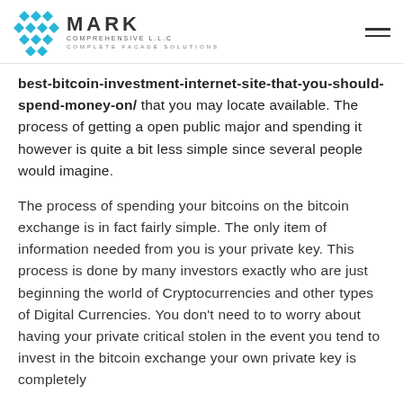[Figure (logo): Mark Comprehensive LLC logo with geometric blue snowflake icon and company name with tagline 'Complete Facade Solutions']
best-bitcoin-investment-internet-site-that-you-should-spend-money-on/ that you may locate available. The process of getting a open public major and spending it however is quite a bit less simple since several people would imagine.
The process of spending your bitcoins on the bitcoin exchange is in fact fairly simple. The only item of information needed from you is your private key. This process is done by many investors exactly who are just beginning the world of Cryptocurrencies and other types of Digital Currencies. You don't need to to worry about having your private critical stolen in the event you tend to invest in the bitcoin exchange your own private key is completely